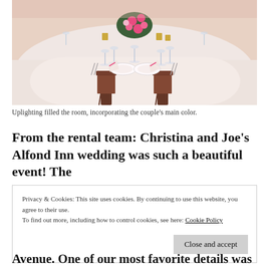[Figure (photo): Wedding reception table setting with white tablecloth, wine glasses, plate settings, pink floral centerpieces and chiavari chairs. Pink uplighting visible in background.]
Uplighting filled the room, incorporating the couple's main color.
From the rental team: Christina and Joe's Alfond Inn wedding was such a beautiful event! The
Privacy & Cookies: This site uses cookies. By continuing to use this website, you agree to their use.
To find out more, including how to control cookies, see here: Cookie Policy
Avenue. One of our most favorite details was the